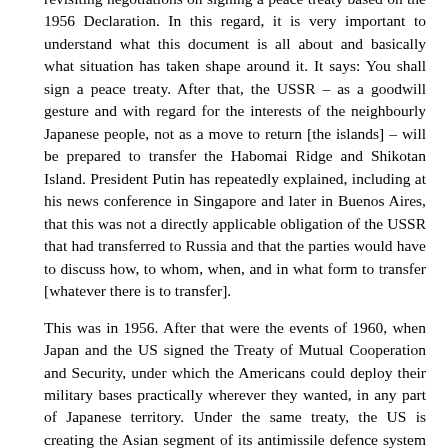revisiting negotiations on signing a peace treaty based on the 1956 Declaration. In this regard, it is very important to understand what this document is all about and basically what situation has taken shape around it. It says: You shall sign a peace treaty. After that, the USSR – as a goodwill gesture and with regard for the interests of the neighbourly Japanese people, not as a move to return [the islands] – will be prepared to transfer the Habomai Ridge and Shikotan Island. President Putin has repeatedly explained, including at his news conference in Singapore and later in Buenos Aires, that this was not a directly applicable obligation of the USSR that had transferred to Russia and that the parties would have to discuss how, to whom, when, and in what form to transfer [whatever there is to transfer].
This was in 1956. After that were the events of 1960, when Japan and the US signed the Treaty of Mutual Cooperation and Security, under which the Americans could deploy their military bases practically wherever they wanted, in any part of Japanese territory. Under the same treaty, the US is creating the Asian segment of its antimissile defence system and deploying antimissile launchers that can be used to fire Tomahawk missiles.
Japan has withdrawn from the Declaration of its own free will. Of